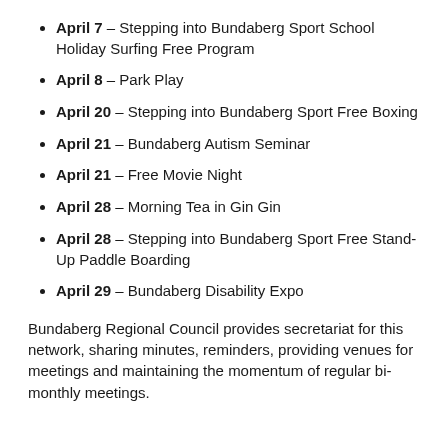April 7 – Stepping into Bundaberg Sport School Holiday Surfing Free Program
April 8 – Park Play
April 20 – Stepping into Bundaberg Sport Free Boxing
April 21 – Bundaberg Autism Seminar
April 21 – Free Movie Night
April 28 – Morning Tea in Gin Gin
April 28 – Stepping into Bundaberg Sport Free Stand-Up Paddle Boarding
April 29 – Bundaberg Disability Expo
Bundaberg Regional Council provides secretariat for this network, sharing minutes, reminders, providing venues for meetings and maintaining the momentum of regular bi-monthly meetings.